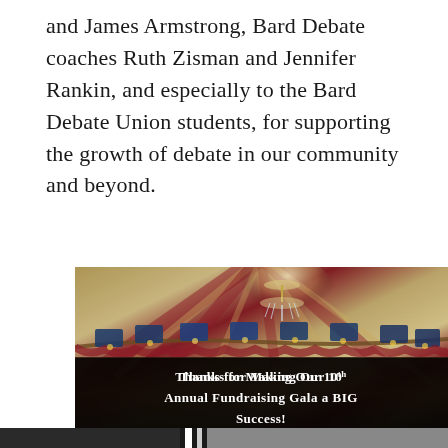and James Armstrong, Bard Debate coaches Ruth Zisman and Jennifer Rankin, and especially to the Bard Debate Union students, for supporting the growth of debate in our community and beyond.
[Figure (photo): Interior of a large decorated tent venue with ornate chandelier, draped fabric ceiling in cream and burgundy colors, and blue decorative panels along the balcony. Dark overlay at bottom reads: Thanks for Making Our 10th Annual Fundraising Gala a BIG Success!]